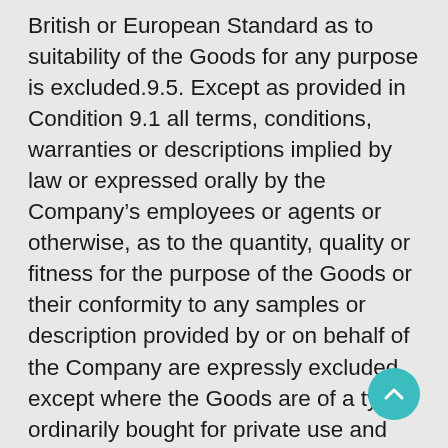British or European Standard as to suitability of the Goods for any purpose is excluded.9.5. Except as provided in Condition 9.1 all terms, conditions, warranties or descriptions implied by law or expressed orally by the Company's employees or agents or otherwise, as to the quantity, quality or fitness for the purpose of the Goods or their conformity to any samples or description provided by or on behalf of the Company are expressly excluded, except where the Goods are of a type ordinarily bought for private use and the Customer is not buying or holding out as buying the same in the course of a business.9.6. The Company shall not be responsible for the accuracy or suitability of any drawing design or specification supplied by the Customer to the Company in relation to the Goods notwithstanding that the Company may have